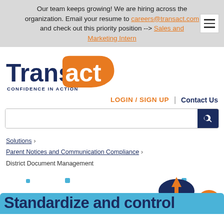Our team keeps growing! We are hiring across the organization. Email your resume to careers@transact.com and check out this priority position --> Sales and Marketing Intern
[Figure (logo): Transact logo — 'Trans' in dark navy bold serif, 'act' in white on an orange rounded speech-bubble shape, with 'CONFIDENCE IN ACTION' tagline in dark navy small caps below]
LOGIN / SIGN UP | Contact Us
Search bar
Solutions › Parent Notices and Communication Compliance › District Document Management
Standardize and control